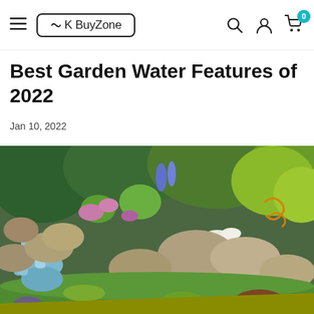UK BuyZone
Best Garden Water Features of 2022
Jan 10, 2022
[Figure (photo): A landscaped garden with a natural stone waterfall and stream, surrounded by lush greenery, colorful flowers, and large rocks. Water cascades down two tiers of rocks on the left side. The garden has manicured grass and various flowering plants.]